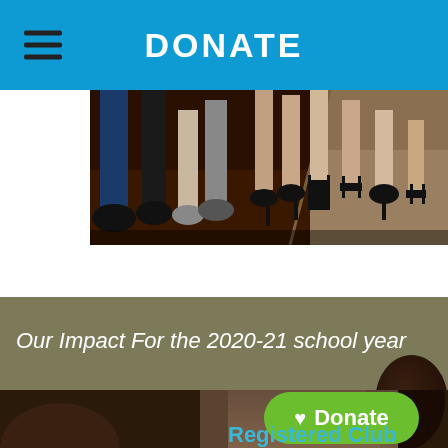DONATE
[Figure (photo): Photograph showing people's feet and shoes standing on a dance floor or event floor, various dress shoes and heels visible]
Our Impact For the 2020-21 school year
[Figure (photo): Bottom portion showing partially visible people's heads in background with a green Donate button and 'Registered Club' text]
Registered Club